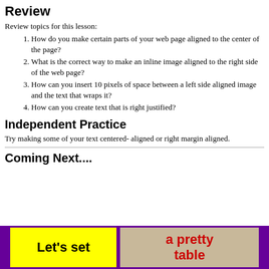Review
Review topics for this lesson:
How do you make certain parts of your web page aligned to the center of the page?
What is the correct way to make an inline image aligned to the right side of the web page?
How can you insert 10 pixels of space between a left side aligned image and the text that wraps it?
How can you create text that is right justified?
Independent Practice
Try making some of your text centered- aligned or right margin aligned.
Coming Next....
[Figure (illustration): Preview box with purple border, yellow left panel with black bold text 'Let's set' and tan/beige right panel with red bold text 'a pretty table']